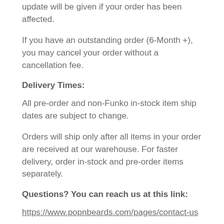update will be given if your order has been affected.
If you have an outstanding order (6-Month +), you may cancel your order without a cancellation fee.
Delivery Times:
All pre-order and non-Funko in-stock item ship dates are subject to change.
Orders will ship only after all items in your order are received at our warehouse. For faster delivery, order in-stock and pre-order items separately.
Questions? You can reach us at this link:
https://www.popnbeards.com/pages/contact-us
For our most recent updates, please visit us on Instagram!